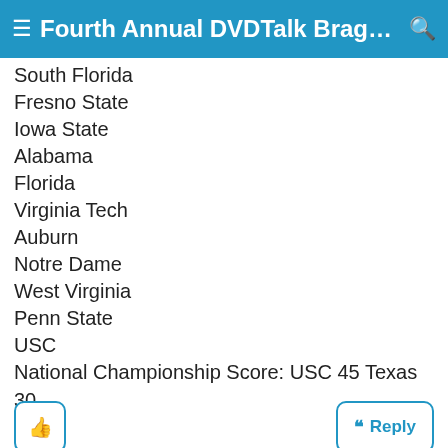Fourth Annual DVDTalk Braggin...
South Florida
Fresno State
Iowa State
Alabama
Florida
Virginia Tech
Auburn
Notre Dame
West Virginia
Penn State
USC
National Championship Score: USC 45 Texas 30
davidlynchfan , 12-16-05 12:49 PM
DVD Talk Platinum Edition